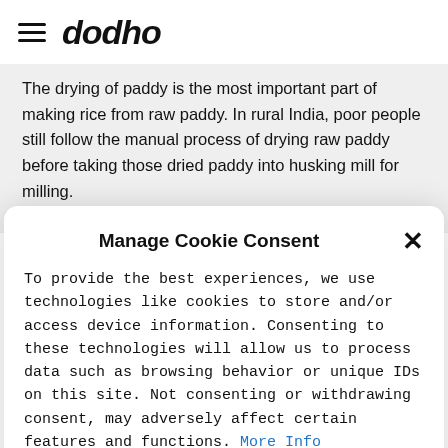dodho
The drying of paddy is the most important part of making rice from raw paddy. In rural India, poor people still follow the manual process of drying raw paddy before taking those dried paddy into husking mill for milling.
Manage Cookie Consent
To provide the best experiences, we use technologies like cookies to store and/or access device information. Consenting to these technologies will allow us to process data such as browsing behavior or unique IDs on this site. Not consenting or withdrawing consent, may adversely affect certain features and functions. More Info
Accept